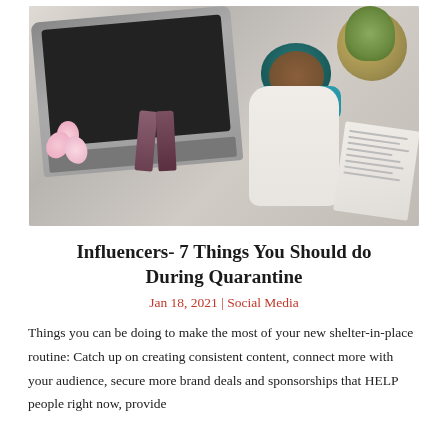[Figure (photo): Overhead/top-down photo of a woman wearing a teal hijab and blue scarf, sitting on the floor with a laptop, books, pink flowers, a cactus in a gold pot, and what appears to be magazines or a newspaper around her.]
Influencers- 7 Things You Should do During Quarantine
Jan 18, 2021 | Social Media
Things you can be doing to make the most of your new shelter-in-place routine: Catch up on creating consistent content, connect more with your audience, secure more brand deals and sponsorships that HELP people right now, provide